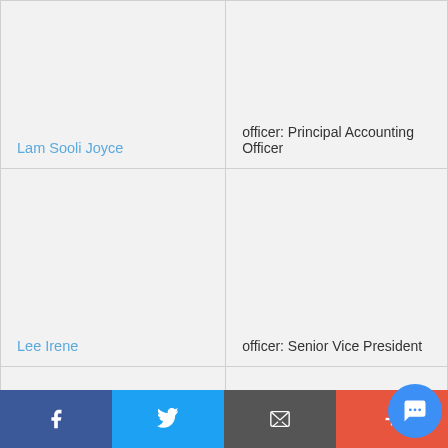| Name | Role |
| --- | --- |
| Lam Sooli Joyce | officer: Principal Accounting Officer |
| Lee Irene | officer: Senior Vice President |
| Kong Peter T M | director |